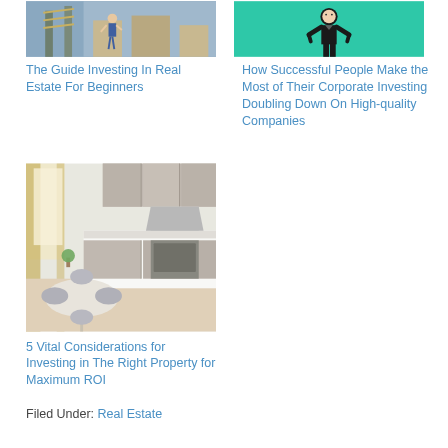[Figure (photo): Photo of people working on a construction/renovation project with ladders and scaffolding]
The Guide Investing In Real Estate For Beginners
[Figure (illustration): Illustration of a person in business attire with hands on hips on a teal/green background]
How Successful People Make the Most of Their Corporate Investing Doubling Down On High-quality Companies
[Figure (photo): Photo of a modern kitchen and dining area with white walls, wooden cabinets, dining table and chairs]
5 Vital Considerations for Investing in The Right Property for Maximum ROI
Filed Under: Real Estate